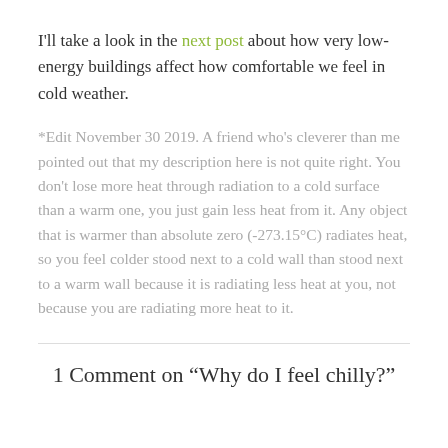I'll take a look in the next post about how very low-energy buildings affect how comfortable we feel in cold weather.
*Edit November 30 2019. A friend who's cleverer than me pointed out that my description here is not quite right. You don't lose more heat through radiation to a cold surface than a warm one, you just gain less heat from it. Any object that is warmer than absolute zero (-273.15°C) radiates heat, so you feel colder stood next to a cold wall than stood next to a warm wall because it is radiating less heat at you, not because you are radiating more heat to it.
1 Comment on "Why do I feel chilly?"